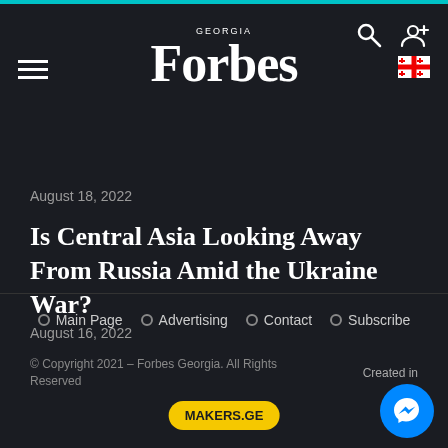Forbes Georgia
August 18, 2022
Is Central Asia Looking Away From Russia Amid the Ukraine War?
August 16, 2022
Main Page · Advertising · Contact · Subscribe
© Copyright 2021 – Forbes Georgia. All Rights Reserved   Created in
MAKERS.GE